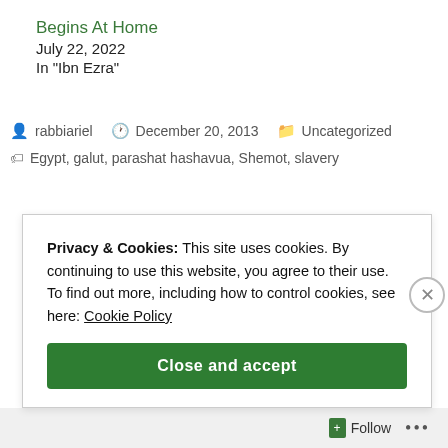Begins At Home
July 22, 2022
In "Ibn Ezra"
rabbiariel   December 20, 2013   Uncategorized
Egypt, galut, parashat hashavua, Shemot, slavery
Privacy & Cookies: This site uses cookies. By continuing to use this website, you agree to their use.
To find out more, including how to control cookies, see here: Cookie Policy
Close and accept